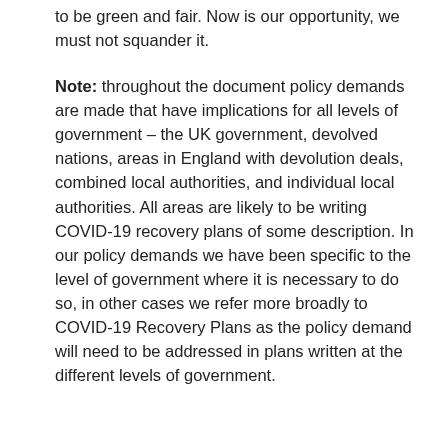to be green and fair. Now is our opportunity, we must not squander it.
Note: throughout the document policy demands are made that have implications for all levels of government – the UK government, devolved nations, areas in England with devolution deals, combined local authorities, and individual local authorities. All areas are likely to be writing COVID-19 recovery plans of some description. In our policy demands we have been specific to the level of government where it is necessary to do so, in other cases we refer more broadly to COVID-19 Recovery Plans as the policy demand will need to be addressed in plans written at the different levels of government.